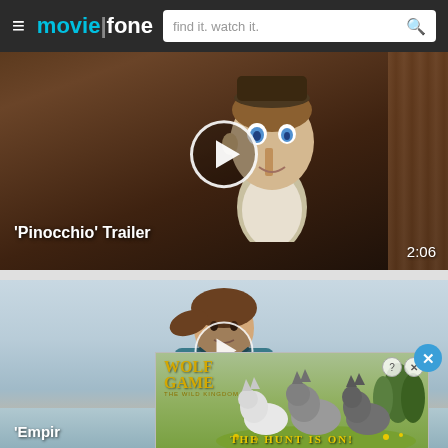moviefone — find it. watch it.
[Figure (screenshot): Video thumbnail for 'Pinocchio' Trailer showing animated Pinocchio character in dark wooden setting with play button overlay]
'Pinocchio' Trailer  2:06
[Figure (screenshot): Video thumbnail for 'Empire' showing a woman standing outdoors near water with play button overlay]
[Figure (advertisement): Wolf Game: The Wild Kingdom ad banner showing wolves in meadow with text 'THE HUNT IS ON!' and close button]